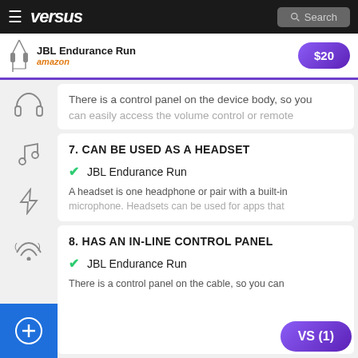versus
JBL Endurance Run — amazon — $20
There is a control panel on the device body, so you can easily access the volume control or remote
7. CAN BE USED AS A HEADSET
JBL Endurance Run
A headset is one headphone or pair with a built-in microphone. Headsets can be used for apps that
8. HAS AN IN-LINE CONTROL PANEL
JBL Endurance Run
There is a control panel on the cable, so you can